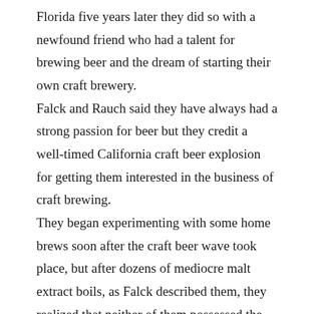Florida five years later they did so with a newfound friend who had a talent for brewing beer and the dream of starting their own craft brewery. Falck and Rauch said they have always had a strong passion for beer but they credit a well-timed California craft beer explosion for getting them interested in the business of craft brewing. They began experimenting with some home brews soon after the craft beer wave took place, but after dozens of mediocre malt extract boils, as Falck described them, they realized that neither of them possessed the patience or know-how to create truly exceptional beers. Fortunately for Falck and Rauch, they were acquainted with Jason Thompson, an avid home brewer from